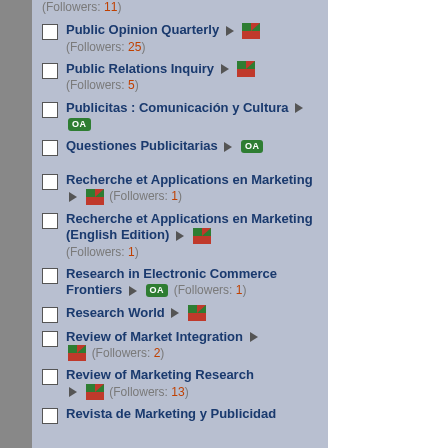(Followers: 11)
Public Opinion Quarterly ► [flag icon] (Followers: 25)
Public Relations Inquiry ► [flag icon] (Followers: 5)
Publicitas : Comunicación y Cultura ► OA
Questiones Publicitarias ► OA
Recherche et Applications en Marketing ► [flag icon] (Followers: 1)
Recherche et Applications en Marketing (English Edition) ► [flag icon] (Followers: 1)
Research in Electronic Commerce Frontiers ► OA (Followers: 1)
Research World ► [flag icon]
Review of Market Integration ► [flag icon] (Followers: 2)
Review of Marketing Research ► [flag icon] (Followers: 13)
Revista de Marketing y Publicidad